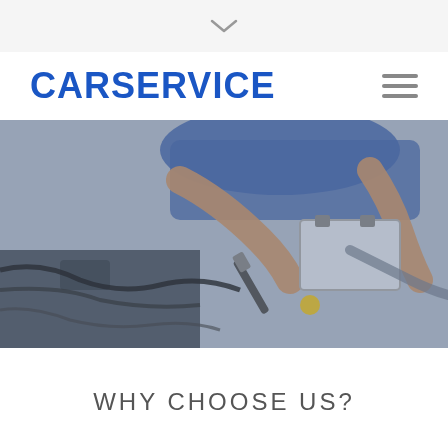[Figure (other): Chevron/down arrow icon in a light gray top bar]
CARSERVICE
[Figure (other): Hamburger menu icon (three horizontal lines)]
[Figure (photo): A mechanic in a blue shirt working on a car engine with a screwdriver tool, hands visible over the open hood]
WHY CHOOSE US?